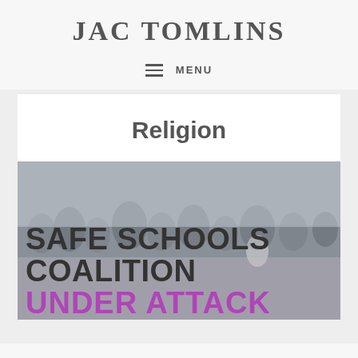JAC TOMLINS
MENU
Religion
[Figure (photo): Crowd of people at an outdoor event with text overlay reading 'SAFE SCHOOLS COALITION UNDER ATTACK']